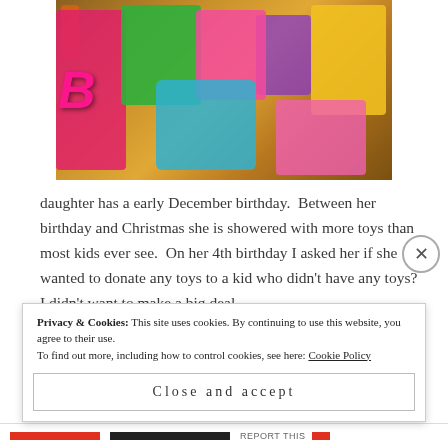[Figure (photo): A collection of children's toys including Barbie, Play-Doh, Tangled/Rapunzel dolls, Tinker Bell, and other colorful gift boxes arranged on a wooden table surface.]
daughter has a early December birthday.  Between her birthday and Christmas she is showered with more toys than most kids ever see.  On her 4th birthday I asked her if she wanted to donate any toys to a kid who didn't have any toys?  I didn't want to make a big deal
Privacy & Cookies: This site uses cookies. By continuing to use this website, you agree to their use.
To find out more, including how to control cookies, see here: Cookie Policy
Close and accept